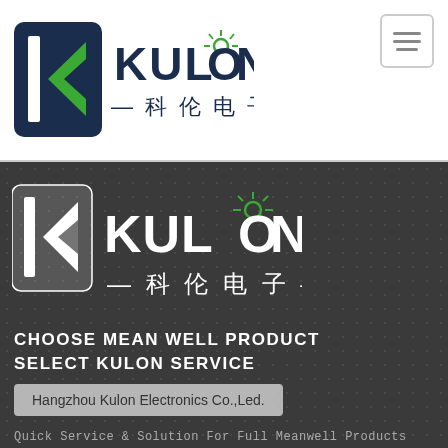[Figure (logo): Kulon Electronics logo with green K arrow icon, sun icon above O in KULON, and Chinese characters 科伦电子 below — top header version on white background]
[Figure (logo): Kulon Electronics logo white version on dark background — same design with K icon, KULON text with sun, and 科伦电子]
CHOOSE MEAN WELL PRODUCT
SELECT KULON SERVICE
Hangzhou Kulon Electronics Co.,Led.
Quick Service & Solution For Full Meanwell Products
The World's Leading Switching Power Supply Manufacturer